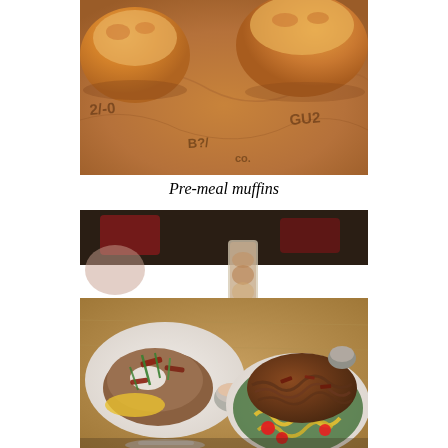[Figure (photo): Close-up photo of pre-meal muffins/biscuits on branded parchment paper with dark printed text pattern, warm golden-brown color]
Pre-meal muffins
[Figure (photo): Restaurant table with two dishes: a loaded baked potato with cheese, bacon, sour cream and green onions on a white plate (left), and a large BBQ pulled beef/brisket salad with shredded meat, cheese, tomatoes, lettuce and dressing on a white plate (right), plus a tall iced drink in background and a small metal sauce cup]